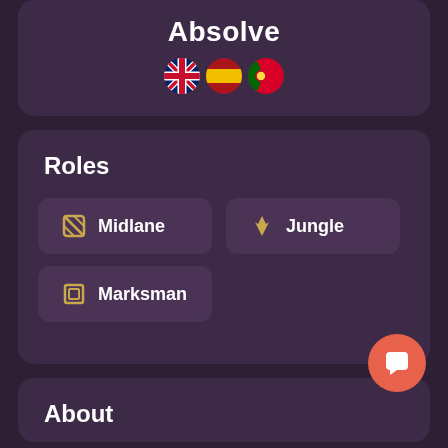Absolve
[Figure (infographic): Three circular national flag icons: UK (Union Jack), Spain, and Portugal]
Roles
Midlane
Jungle
Marksman
About